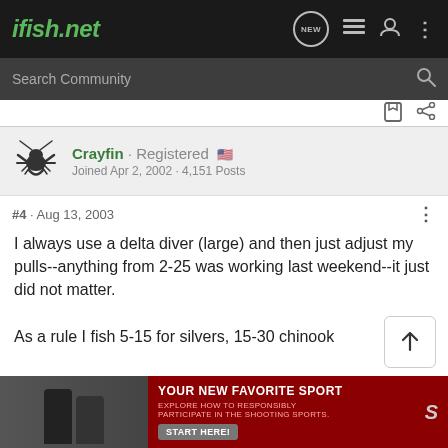ifish.net
Search Community
Crayfin · Registered
Joined Apr 2, 2002 · 4,151 Posts
#4 · Aug 13, 2003
I always use a delta diver (large) and then just adjust my pulls--anything from 2-25 was working last weekend--it just did not matter.

As a rule I fish 5-15 for silvers, 15-30 chinook
[Figure (screenshot): Advertisement banner: YOUR NEW FAVORITE SPORT - EXPLORE HOW TO RESPONSIBLY PARTICIPATE IN THE SHOOTING SPORTS. START HERE!]